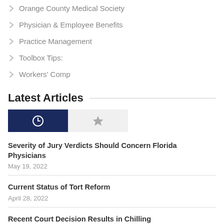Orange County Medical Society
Physician & Employee Benefits
Practice Management
Toolbox Tips:
Workers' Comp
Latest Articles
[Figure (other): Two tab buttons: a dark navy blue tab with a clock icon (recent articles) and a light gray tab with a star icon (popular articles)]
Severity of Jury Verdicts Should Concern Florida Physicians
May 19, 2022
Current Status of Tort Reform
April 28, 2022
Recent Court Decision Results in Chilling